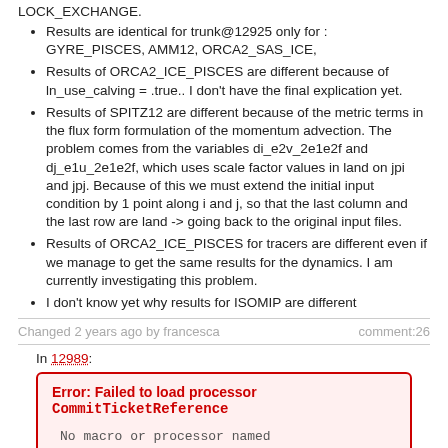LOCK_EXCHANGE.
Results are identical for trunk@12925 only for : GYRE_PISCES, AMM12, ORCA2_SAS_ICE,
Results of ORCA2_ICE_PISCES are different because of ln_use_calving = .true.. I don't have the final explication yet.
Results of SPITZ12 are different because of the metric terms in the flux form formulation of the momentum advection. The problem comes from the variables di_e2v_2e1e2f and dj_e1u_2e1e2f, which uses scale factor values in land on jpi and jpj. Because of this we must extend the initial input condition by 1 point along i and j, so that the last column and the last row are land -> going back to the original input files.
Results of ORCA2_ICE_PISCES for tracers are different even if we manage to get the same results for the dynamics. I am currently investigating this problem.
I don't know yet why results for ISOMIP are different
Changed 2 years ago by francesca	comment:26
In 12989:
Error: Failed to load processor CommitTicketReference
No macro or processor named 'CommitTicketReference' found